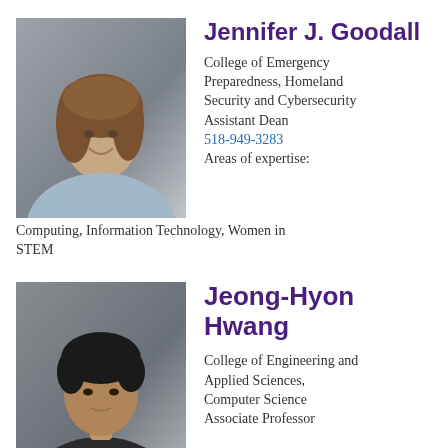[Figure (photo): Headshot photo of Jennifer J. Goodall, a woman with shoulder-length wavy brown hair, wearing a light blue sweater, smiling, against a grey background.]
Jennifer J. Goodall
College of Emergency Preparedness, Homeland Security and Cybersecurity
Assistant Dean
518-949-3283
Areas of expertise:
Computing, Information Technology, Women in STEM
[Figure (photo): Headshot photo of Jeong-Hyon Hwang, an Asian man with short dark hair, wearing a dark collared shirt, against a grey background.]
Jeong-Hyon Hwang
College of Engineering and Applied Sciences, Computer Science
Associate Professor